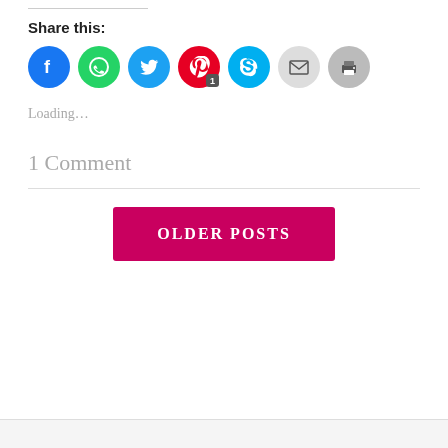Share this:
[Figure (infographic): Row of social share icon buttons: Facebook (blue circle), WhatsApp (green circle), Twitter (cyan circle), Pinterest (red circle with badge '1'), Skype (light blue circle), Email (grey circle with envelope), Print (grey circle with printer icon)]
Loading...
1 Comment
OLDER POSTS